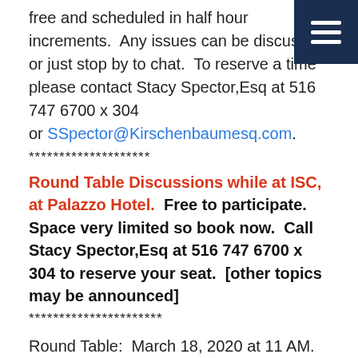free and scheduled in half hour increments.  Any issues can be discussed or just stop by to chat.  To reserve a time please contact Stacy Spector,Esq at 516 747 6700 x 304 or SSpector@Kirschenbaumesq.com.
********************
Round Table Discussions while at ISC, at Palazzo Hotel.  Free to participate.  Space very limited so book now.  Call Stacy Spector,Esq at 516 747 6700 x 304 to reserve your seat.  [other topics may be announced]
**********************
Round Table:  March 18, 2020 at 11 AM.
Join Morgan Hertel, VP of Technology and Innovation, Rapid Response Monitoring and Ken